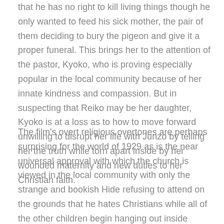that he has no right to kill living things though he only wanted to feed his sick mother, the pair of them deciding to bury the pigeon and give it a proper funeral. This brings her to the attention of the pastor, Kyoko, who is proving especially popular in the local community because of her innate kindness and compassion. But in suspecting that Reiko may be her daughter, Kyoko is at a loss as to how to move forward unwilling to disrupt her life with Junzo by telling her the truth while torn apart inside by her wounded maternity and new duties to her Christian faith.
The film's overt religious overtones are perhaps surprising for the world of 1929 as is the near universal approval with which the church is viewed in the local community with only the strange and bookish Hide refusing to attend on the grounds that he hates Christians while all of the other children begin hanging out inside largely because of Kyoko's warmth and kindness. It is finally Christian virtues which allow the family to be repaired, Junzo overcoming his sense of wounded male pride when faced with Reiko's constant pining as the pair eventually make a mad dash